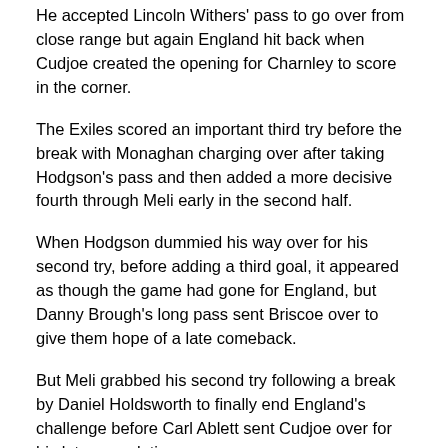He accepted Lincoln Withers' pass to go over from close range but again England hit back when Cudjoe created the opening for Charnley to score in the corner.
The Exiles scored an important third try before the break with Monaghan charging over after taking Hodgson's pass and then added a more decisive fourth through Meli early in the second half.
When Hodgson dummied his way over for his second try, before adding a third goal, it appeared as though the game had gone for England, but Danny Brough's long pass sent Briscoe over to give them hope of a late comeback.
But Meli grabbed his second try following a break by Daniel Holdsworth to finally end England's challenge before Carl Ablett sent Cudjoe over for his late consolation.
England coach Steve McNamara: "We exposed a lot of our young players all at the same time. They will improve from that..."